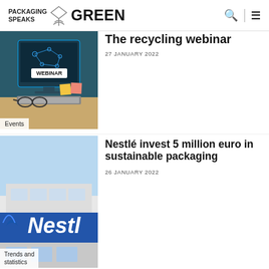PACKAGING SPEAKS GREEN
[Figure (screenshot): Webinar thumbnail image showing a computer screen with WEBINAR text, network connectivity graphics, sticky notes, glasses and keyboard on desk. Events label at bottom.]
The recycling webinar
27 JANUARY 2022
[Figure (photo): Photo of Nestlé building exterior showing Nestlé logo sign in blue. Trends and statistics label at bottom.]
Nestlé invest 5 million euro in sustainable packaging
26 JANUARY 2022